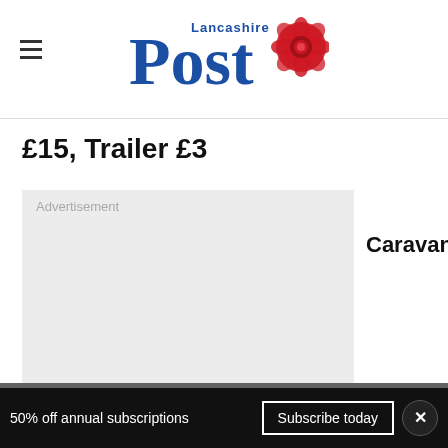Lancashire Post
£15, Trailer £3
[Figure (other): Advertisement placeholder box]
Caravan £10
50% off annual subscriptions
Subscribe today